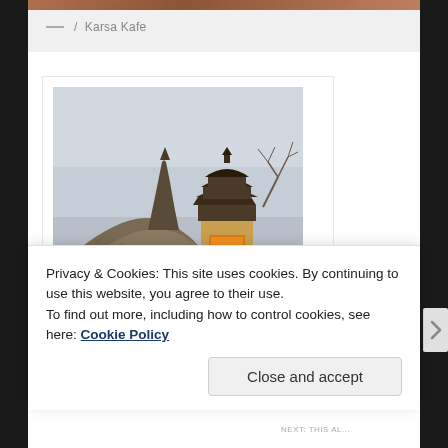[Figure (photo): Partial view of a photo at the top of the page, showing a warm-toned image (brown/orange tones) — appears to be cut off at top]
— / Karsa Kafe
[Figure (photo): Photograph of a Balinese scene: thatched roofs in the foreground with a traditional pagoda-style tower (meru) with dark tiled roof, lit warmly in orange, against a grey overcast sky. Trees visible on the right.]
Privacy & Cookies: This site uses cookies. By continuing to use this website, you agree to their use.
To find out more, including how to control cookies, see here: Cookie Policy
Close and accept